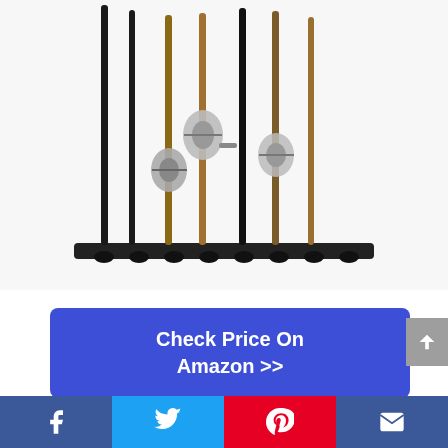[Figure (photo): A fishing rod holder rack holding approximately 7 fishing rods with spinning reels, mounted on a horizontal bar with slots at the bottom.]
Check Price On Amazon >>
PROS:
It holds up to 6 rods, and also
Facebook | Twitter | Pinterest | Email